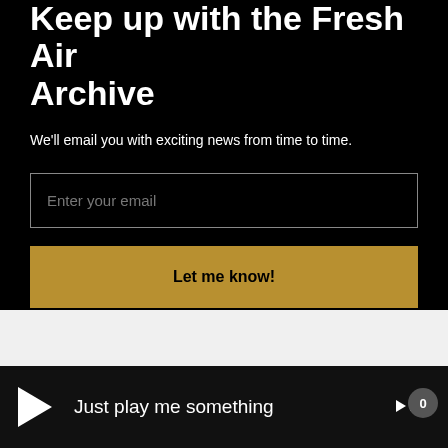Keep up with the Fresh Air Archive
We'll email you with exciting news from time to time.
Enter your email
Let me know!
Just play me something
0